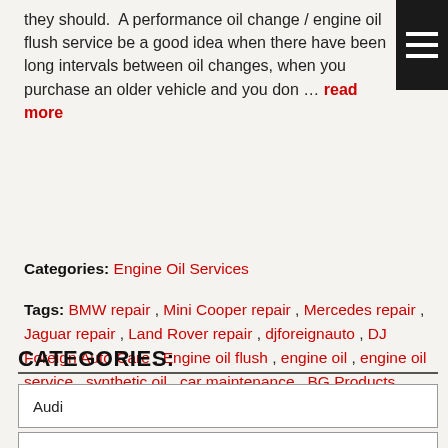they should. A performance oil change / engine oil flush service be a good idea when there have been long intervals between oil changes, when you purchase an older vehicle and you don … read more
Categories: Engine Oil Services
Tags: BMW repair , Mini Cooper repair , Mercedes repair , Jaguar repair , Land Rover repair , djforeignauto , DJ Foreign Auto Care , Engine oil flush , engine oil , engine oil service , synthetic oil , car maintenance , BG Products
CATEGORIES:
Audi
Autologic